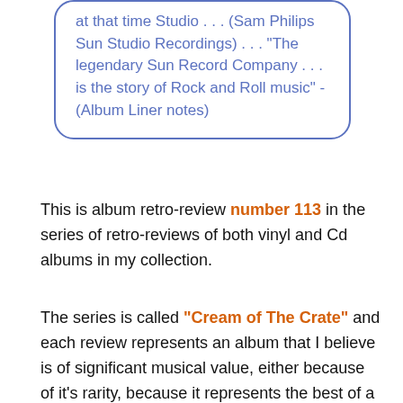at that time Studio . . . (Sam Philips Sun Studio Recordings) . . . "The legendary Sun Record Company . . . is the story of Rock and Roll music" - (Album Liner notes)
This is album retro-review number 113 in the series of retro-reviews of both vinyl and Cd albums in my collection.
The series is called "Cream of The Crate" and each review represents an album that I believe is of significant musical value, either because of it's rarity, because it represents the best of a style or styles of music or because there is something